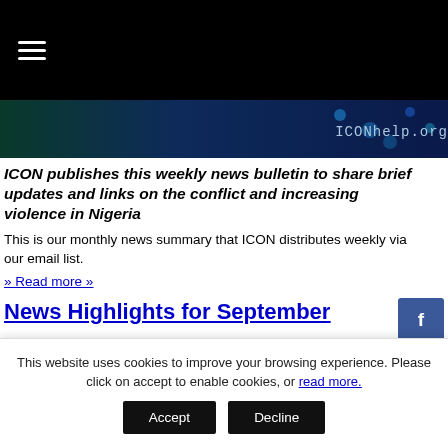≡ [hamburger menu]
[Figure (screenshot): Dark blue banner image with ICONhelp.org text]
ICON publishes this weekly news bulletin to share brief updates and links on the conflict and increasing violence in Nigeria
This is our monthly news summary that ICON distributes weekly via our email list.
» Read more »
News Highlights for September
This website uses cookies to improve your browsing experience. Please click on accept to enable cookies, or read more.